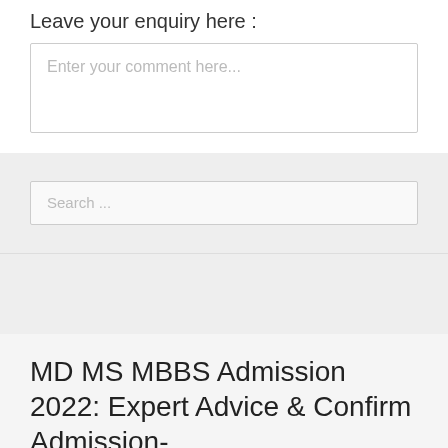Leave your enquiry here :
Enter your comment here...
Search ...
MD MS MBBS Admission 2022: Expert Advice & Confirm Admission-